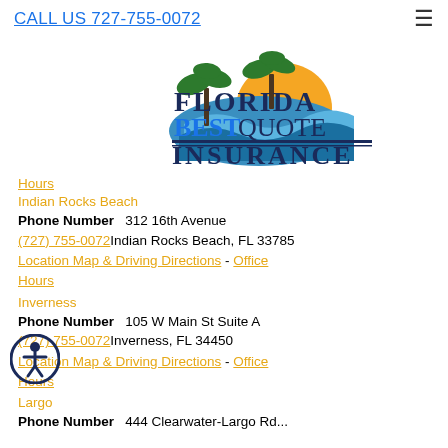CALL US 727-755-0072
[Figure (logo): Florida Best Quote Insurance logo with palm trees, sunset, and ocean waves]
Hours
Indian Rocks Beach
Phone Number   312 16th Avenue
(727) 755-0072 Indian Rocks Beach, FL 33785
Location Map & Driving Directions - Office Hours
Inverness
Phone Number   105 W Main St Suite A
(727) 755-0072 Inverness, FL 34450
Location Map & Driving Directions - Office Hours
Largo
Phone Number   444 Clearwater-Largo Rd...